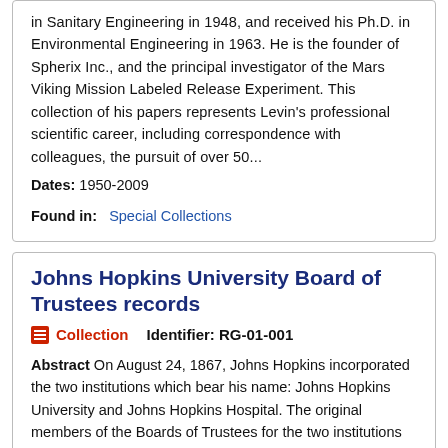in Sanitary Engineering in 1948, and received his Ph.D. in Environmental Engineering in 1963. He is the founder of Spherix Inc., and the principal investigator of the Mars Viking Mission Labeled Release Experiment. This collection of his papers represents Levin's professional scientific career, including correspondence with colleagues, the pursuit of over 50...
Dates: 1950-2009
Found in: Special Collections
Johns Hopkins University Board of Trustees records
Collection   Identifier: RG-01-001
Abstract On August 24, 1867, Johns Hopkins incorporated the two institutions which bear his name: Johns Hopkins University and Johns Hopkins Hospital. The original members of the Boards of Trustees for the two institutions were named in the Certificate of Incorporation. The